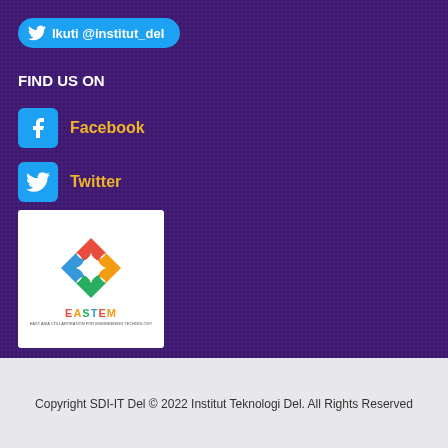Ikuti @institut_del
FIND US ON
Facebook
Twitter
[Figure (logo): EASTEM logo with colorful puzzle pieces forming a diamond shape, text EASTEM below with subtitle text]
Copyright SDI-IT Del © 2022 Institut Teknologi Del. All Rights Reserved